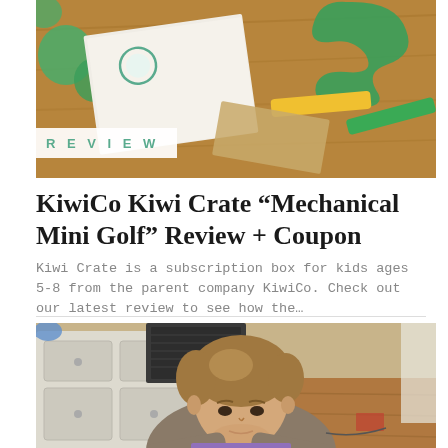[Figure (photo): Top-down photo of wooden table with KiwiCo mini golf craft materials: green foam letters, yellow and green cardboard strips, instruction papers]
REVIEW
KiwiCo Kiwi Crate “Mechanical Mini Golf” Review + Coupon
Kiwi Crate is a subscription box for kids ages 5-8 from the parent company KiwiCo. Check out our latest review to see how the…
BY BRANDI D.  |  AUG 2, 2022  |  0 COMMENTS
[Figure (photo): Young boy with light brown hair in gray t-shirt leaning over a table, looking down intently, with a white dresser and wooden floor in the background]